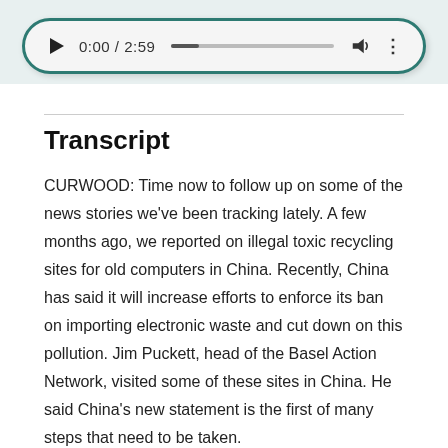[Figure (other): Audio player widget showing play button, time display '0:00 / 2:59', progress bar, volume icon, and more options icon. Dark teal border, light gray background, rounded corners.]
Transcript
CURWOOD: Time now to follow up on some of the news stories we’ve been tracking lately. A few months ago, we reported on illegal toxic recycling sites for old computers in China. Recently, China has said it will increase efforts to enforce its ban on importing electronic waste and cut down on this pollution. Jim Puckett, head of the Basel Action Network, visited some of these sites in China. He said China’s new statement is the first of many steps that need to be taken.